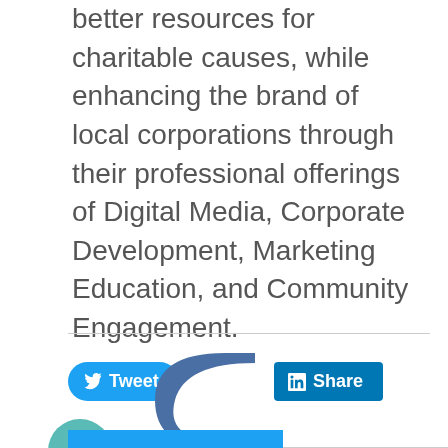better resources for charitable causes, while enhancing the brand of local corporations through their professional offerings of Digital Media, Corporate Development, Marketing Education, and Community Engagement.
[Figure (other): Twitter Tweet button (blue pill shape) and LinkedIn Share button (blue rectangle), followed by a teal circular scroll-to-top button with upward chevron, and a partial logo at the bottom]